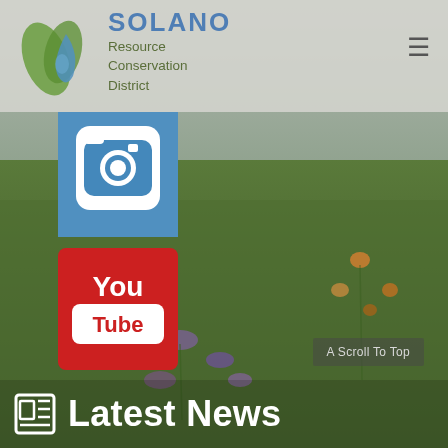[Figure (photo): Background photo of a wildflower meadow with purple and orange flowers and green grass, partially obscured by a semi-transparent overlay]
SOLANO Resource Conservation District
[Figure (logo): Instagram logo icon — white camera icon on blue background]
[Figure (logo): YouTube logo icon — white 'You Tube' text on red background]
A Scroll To Top
Latest News